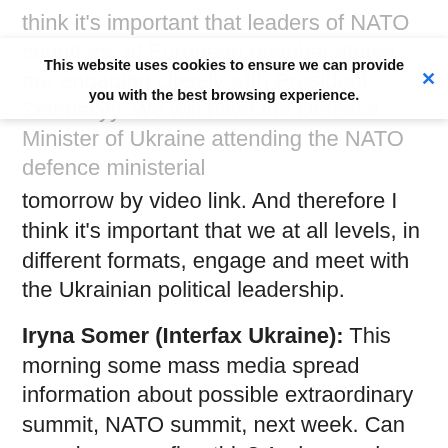think it's important that leaders of NATO countries, of European member states are engaging closely with President Zelenskyy. We will have the Defence Minister of Ukraine attending the NATO defence ministerial tomorrow by video link. And therefore I think it's important that we at all levels, in different formats, engage and meet with the Ukrainian political leadership.
Cookie banner: This website uses cookies to ensure we can provide you with the best browsing experience. X
Iryna Somer (Interfax Ukraine): This morning some mass media spread information about possible extraordinary summit, NATO summit, next week. Can you please confirm this? And second technical question, according to my information it took for NATO bureaucracy one and a half weeks to implement [the] Ukrainian request for fuel, can you please comment on this? Thank you.
NATO Secretary General Jens Stoltenberg: Well, NATO Allies are providing and have provided a lot of different types of support to Ukraine. Some of this is channelled through the NATO framework, some are